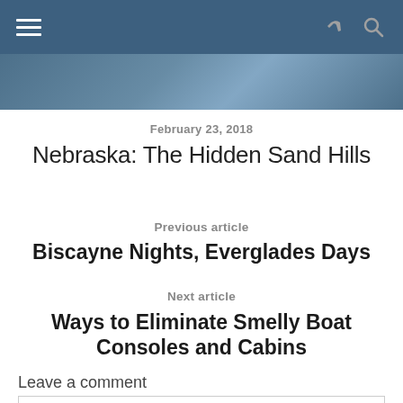Navigation bar with hamburger menu, share and search icons
[Figure (photo): Partial photo strip showing outdoor/nature scene]
February 23, 2018
Nebraska: The Hidden Sand Hills
Previous article
Biscayne Nights, Everglades Days
Next article
Ways to Eliminate Smelly Boat Consoles and Cabins
Leave a comment